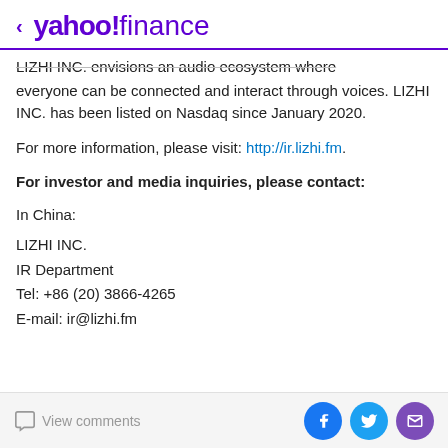< yahoo!finance
LIZHI INC. envisions an audio ecosystem where everyone can be connected and interact through voices. LIZHI INC. has been listed on Nasdaq since January 2020.
For more information, please visit: http://ir.lizhi.fm.
For investor and media inquiries, please contact:
In China:
LIZHI INC.
IR Department
Tel: +86 (20) 3866-4265
E-mail: ir@lizhi.fm
View comments